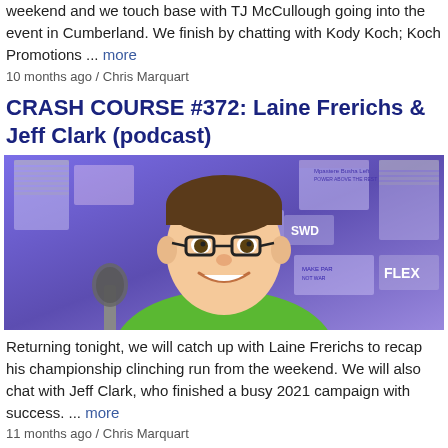... joins us to look ahead to Buford Hills this weekend and we touch base with TJ McCullough going into the event in Cumberland. We finish by chatting with Kody Koch; Koch Promotions ... more
10 months ago / Chris Marquart
CRASH COURSE #372: Laine Frerichs & Jeff Clark (podcast)
[Figure (photo): Man with glasses and green shirt smiling in front of a wall covered in posters and banners, with a microphone in the foreground]
Returning tonight, we will catch up with Laine Frerichs to recap his championship clinching run from the weekend. We will also chat with Jeff Clark, who finished a busy 2021 campaign with success. ... more
11 months ago / Chris Marquart